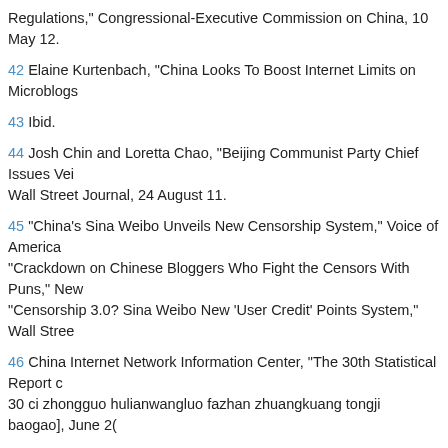Regulations," Congressional-Executive Commission on China, 10 May 12.
42 Elaine Kurtenbach, "China Looks To Boost Internet Limits on Microblogs
43 Ibid.
44 Josh Chin and Loretta Chao, "Beijing Communist Party Chief Issues Veil Wall Street Journal, 24 August 11.
45 "China's Sina Weibo Unveils New Censorship System," Voice of America; "Crackdown on Chinese Bloggers Who Fight the Censors With Puns," New; "Censorship 3.0? Sina Weibo New 'User Credit' Points System," Wall Stree
46 China Internet Network Information Center, "The 30th Statistical Report c 30 ci zhongguo hulianwangluo fazhan zhuangkuang tongji baogao], June 2(
47 "China Mobile Subscribers Rise 1.1 Pct to 1.02 Bln in April," Reuters, 21
48 Ministry of Industry and Information Technology, Internet Industry "12th F [Hulianwang hangye "shier wu" fazhan guihua], 18 October 11; "Chinese Int Xinhua, reprinted in China Daily, 5 May 12.
49 Ibid.
50 State Council Information Office, "National Human Rights Action Plan of (6).
51 "China To Tighten Internet Control With New Rules," Agence France-Pre